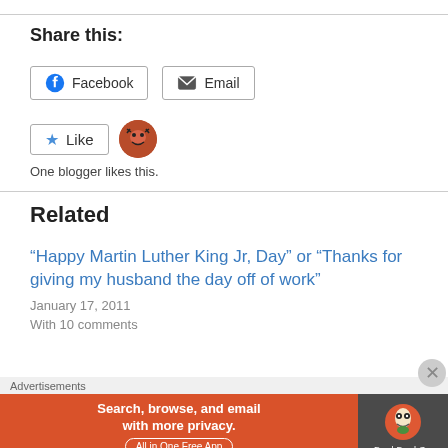Share this:
Facebook  Email
Like  One blogger likes this.
Related
“Happy Martin Luther King Jr, Day” or “Thanks for giving my husband the day off of work”
January 17, 2011
With 10 comments
Advertisements
[Figure (screenshot): DuckDuckGo advertisement banner: 'Search, browse, and email with more privacy. All in One Free App' with DuckDuckGo duck logo on dark background]